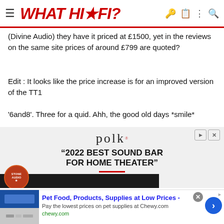WHAT HI-FI?
(Divine Audio) they have it priced at £1500, yet in the reviews on the same site prices of around £799 are quoted?
Edit : It looks like the price increase is for an improved version of the TT1
'6and8'. Three for a quid. Ahh, the good old days *smile*
[Figure (infographic): Polk audio advertisement: '2022 BEST SOUND BAR FOR HOME THEATER' quote from Rolling Stone magazine, with Polk logo and soundbar image]
[Figure (infographic): Bottom banner ad for Chewy.com: Pet Food, Products, Supplies at Low Prices - Pay the lowest prices on pet supplies at Chewy.com]